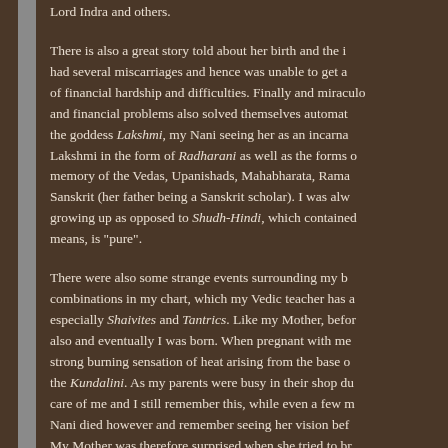Lord Indra and others.
There is also a great story told about her birth and the i... had several miscarriages and hence was unable to get a... of financial hardship and difficulties. Finally and miraculo... and financial problems also solved themselves automat... the goddess Lakshmi, my Nani seeing her as an incarna... Lakshmi in the form of Radharani as well as the forms o... memory of the Vedas, Upanishads, Mahabharata, Rama... Sanskrit (her father being a Sanskrit scholar). I was alw... growing up as opposed to Shudh-Hindi, which contained... means, is "pure".
There were also some strange events surrounding my b... combinations in my chart, which my Vedic teacher has a... especially Shaivites and Tantrics. Like my Mother, befor... also and eventually I was born. When pregnant with me... strong burning sensation of heat arising from the base o... the Kundalini. As my parents were busy in their shop du... care of me and I still remember this, while even a few m... Nani died however and remember seeing her vision bef... My Mother was therefore surprised when she tried to br... and I replied "I know", relating my vision of her earlier t...
At various times it is described some strange evento...